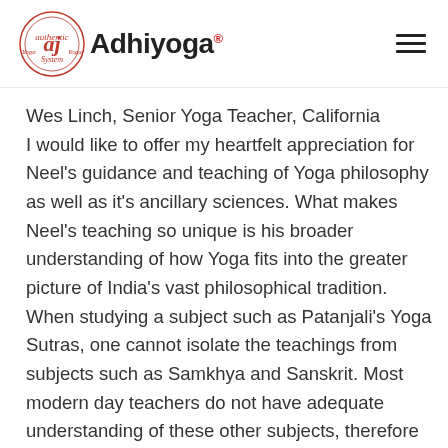Adhiyoga
Wes Linch, Senior Yoga Teacher, California I would like to offer my heartfelt appreciation for Neel's guidance and teaching of Yoga philosophy as well as it's ancillary sciences. What makes Neel's teaching so unique is his broader understanding of how Yoga fits into the greater picture of India's vast philosophical tradition. When studying a subject such as Patanjali's Yoga Sutras, one cannot isolate the teachings from subjects such as Samkhya and Sanskrit. Most modern day teachers do not have adequate understanding of these other subjects, therefore the presentation